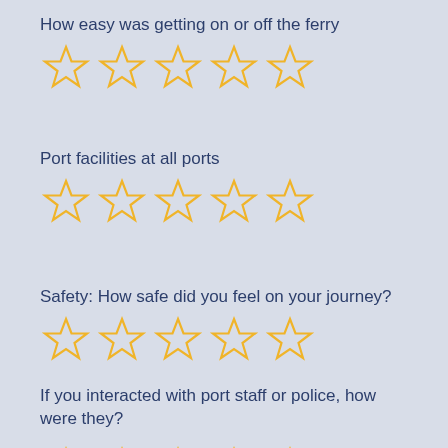How easy was getting on or off the ferry
[Figure (other): Five empty star rating widgets (outlined gold stars) for rating ease of getting on or off the ferry]
Port facilities at all ports
[Figure (other): Five empty star rating widgets (outlined gold stars) for rating port facilities]
Safety: How safe did you feel on your journey?
[Figure (other): Five empty star rating widgets (outlined gold stars) for rating safety]
If you interacted with port staff or police, how were they?
[Figure (other): Five empty star rating widgets (outlined gold stars) for rating port staff or police]
For wheelchair users: How easy was the route?